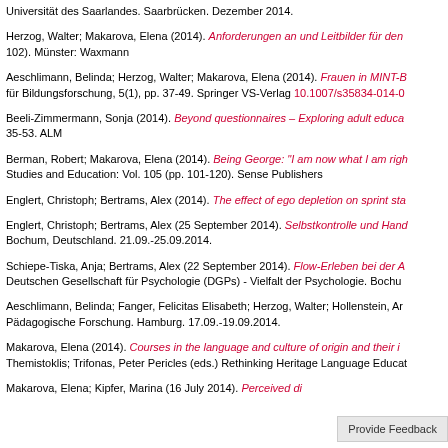Universität des Saarlandes. Saarbrücken. Dezember 2014.
Herzog, Walter; Makarova, Elena (2014). Anforderungen an und Leitbilder für den ... 102). Münster: Waxmann
Aeschlimann, Belinda; Herzog, Walter; Makarova, Elena (2014). Frauen in MINT-B... für Bildungsforschung, 5(1), pp. 37-49. Springer VS-Verlag 10.1007/s35834-014-0...
Beeli-Zimmermann, Sonja (2014). Beyond questionnaires – Exploring adult educa... 35-53. ALM
Berman, Robert; Makarova, Elena (2014). Being George: "I am now what I am righ... Studies and Education: Vol. 105 (pp. 101-120). Sense Publishers
Englert, Christoph; Bertrams, Alex (2014). The effect of ego depletion on sprint sta...
Englert, Christoph; Bertrams, Alex (25 September 2014). Selbstkontrolle und Hand... Bochum, Deutschland. 21.09.-25.09.2014.
Schiepe-Tiska, Anja; Bertrams, Alex (22 September 2014). Flow-Erleben bei der A... Deutschen Gesellschaft für Psychologie (DGPs) - Vielfalt der Psychologie. Bochu...
Aeschlimann, Belinda; Fanger, Felicitas Elisabeth; Herzog, Walter; Hollenstein, Ar... Pädagogische Forschung. Hamburg. 17.09.-19.09.2014.
Makarova, Elena (2014). Courses in the language and culture of origin and their in... Themistoklis; Trifonas, Peter Pericles (eds.) Rethinking Heritage Language Educat...
Makarova, Elena; Kipfer, Marina (16 July 2014). Perceived di...